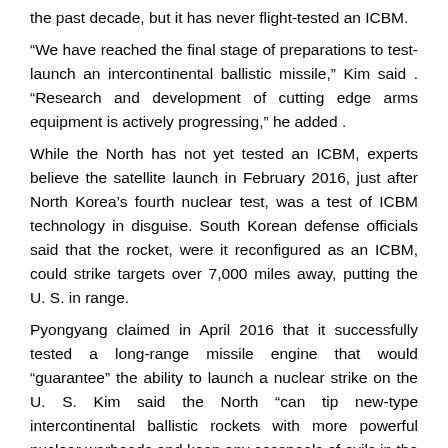the past decade, but it has never flight-tested an ICBM.
“We have reached the final stage of preparations to test-launch an intercontinental ballistic missile,” Kim said . “Research and development of cutting edge arms equipment is actively progressing,” he added .
While the North has not yet tested an ICBM, experts believe the satellite launch in February 2016, just after North Korea’s fourth nuclear test, was a test of ICBM technology in disguise. South Korean defense officials said that the rocket, were it reconfigured as an ICBM, could strike targets over 7,000 miles away, putting the U. S. in range.
Pyongyang claimed in April 2016 that it successfully tested a long-range missile engine that would “guarantee” the ability to launch a nuclear strike on the U. S. Kim said the North “can tip new-type intercontinental ballistic rockets with more powerful nuclear warheads and keep any cesspools of evils in the Earth, including the U. S. mainland, within our striking range.”
The North announced in September last year that it had carried out another long-range rocket engine test capable of advancing its